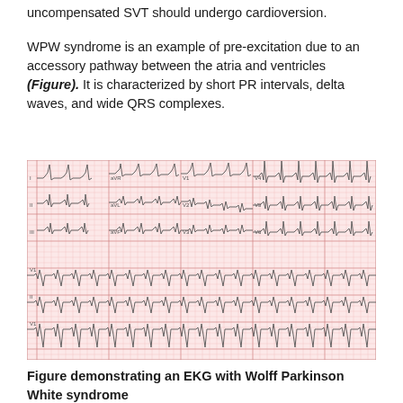uncompensated SVT should undergo cardioversion.
WPW syndrome is an example of pre-excitation due to an accessory pathway between the atria and ventricles (Figure). It is characterized by short PR intervals, delta waves, and wide QRS complexes.
[Figure (other): 12-lead EKG tracing showing Wolff-Parkinson-White syndrome with characteristic short PR intervals, delta waves, and wide QRS complexes on pink graph paper. Multiple leads visible: I, II, III, aVR, aVL, aVF, V1-V6.]
Figure demonstrating an EKG with Wolff Parkinson White syndrome